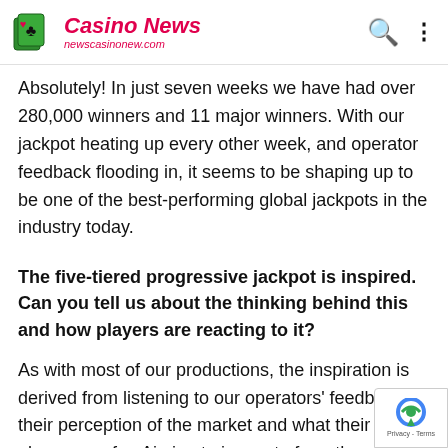Casino News newscasinonew.com
Absolutely! In just seven weeks we have had over 280,000 winners and 11 major winners. With our jackpot heating up every other week, and operator feedback flooding in, it seems to be shaping up to be one of the best-performing global jackpots in the industry today.
The five-tiered progressive jackpot is inspired. Can you tell us about the thinking behind this and how players are reacting to it?
As with most of our productions, the inspiration is derived from listening to our operators' feedback on their perception of the market and what their players are for. Aiming to innovate from the start, we began by looking